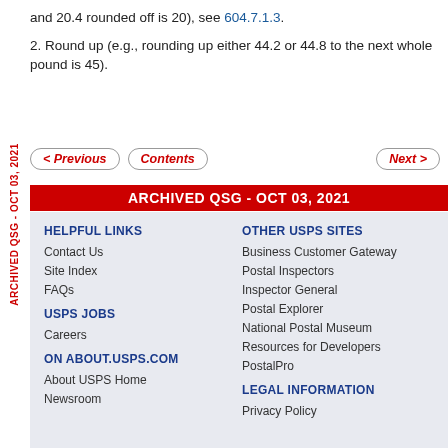and 20.4 rounded off is 20), see 604.7.1.3.
2. Round up (e.g., rounding up either 44.2 or 44.8 to the next whole pound is 45).
< Previous   Contents   Next >
ARCHIVED QSG - OCT 03, 2021
ARCHIVED QSG - OCT 03, 2021 (sidebar)
HELPFUL LINKS
Contact Us
Site Index
FAQs
USPS JOBS
Careers
ON ABOUT.USPS.COM
About USPS Home
Newsroom
OTHER USPS SITES
Business Customer Gateway
Postal Inspectors
Inspector General
Postal Explorer
National Postal Museum
Resources for Developers
PostalPro
LEGAL INFORMATION
Privacy Policy